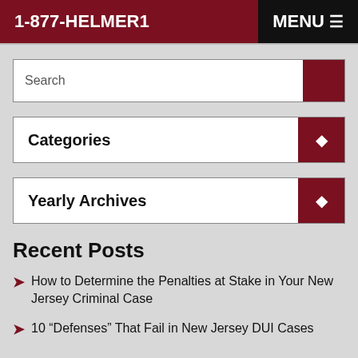1-877-HELMER1   MENU
Search
Categories
Yearly Archives
Recent Posts
How to Determine the Penalties at Stake in Your New Jersey Criminal Case
10 “Defenses” That Fail in New Jersey DUI Cases